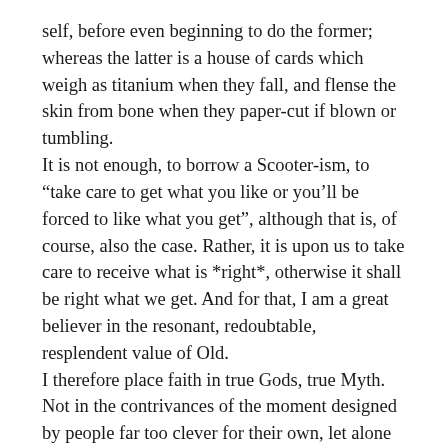self, before even beginning to do the former; whereas the latter is a house of cards which weigh as titanium when they fall, and flense the skin from bone when they paper-cut if blown or tumbling.
It is not enough, to borrow a Scooter-ism, to “take care to get what you like or you’ll be forced to like what you get”, although that is, of course, also the case. Rather, it is upon us to take care to receive what is *right*, otherwise it shall be right what we get. And for that, I am a great believer in the resonant, redoubtable, resplendent value of Old.
I therefore place faith in true Gods, true Myth. Not in the contrivances of the moment designed by people far too clever for their own, let alone anybody else’s good – who approach even civilizational-tier metanarratives